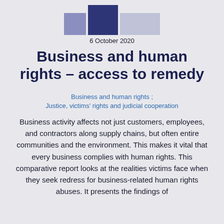[Figure (logo): Abstract logo with three colored blocks: medium purple square, large dark navy square, and wide light lavender rectangle, arranged side by side]
6 October 2020
Business and human rights – access to remedy
Business and human rights ; Justice, victims' rights and judicial cooperation
Business activity affects not just customers, employees, and contractors along supply chains, but often entire communities and the environment. This makes it vital that every business complies with human rights. This comparative report looks at the realities victims face when they seek redress for business-related human rights abuses. It presents the findings of